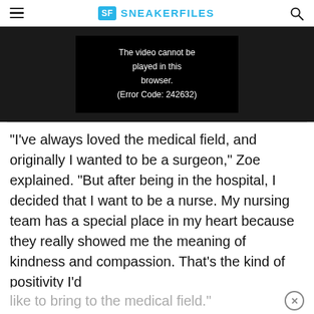SF SNEAKERFILES
[Figure (screenshot): Video player showing error message: 'The video cannot be played in this browser. (Error Code: 242632)']
“I’ve always loved the medical field, and originally I wanted to be a surgeon,” Zoe explained. “But after being in the hospital, I decided that I want to be a nurse. My nursing team has a special place in my heart because they really showed me the meaning of kindness and compassion. That’s the kind of positivity I’d like to bring to the medical field.”